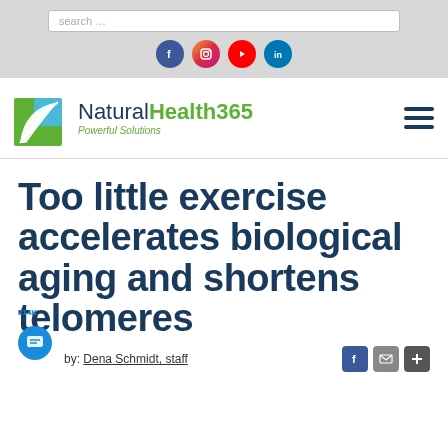search ...
[Figure (logo): NaturalHealth365 logo with leaf icon and tagline 'Powerful Solutions']
Too little exercise accelerates biological aging and shortens telomeres
by: Dena Schmidt, staff